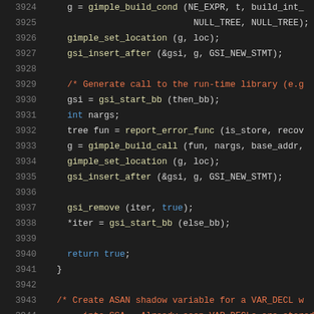[Figure (screenshot): Source code viewer showing lines 3924-3945 of C source code with syntax highlighting. Line numbers in gray on left, keywords in blue, function calls in yellow/tan, comments in orange-red, plain code in light gray on dark background.]